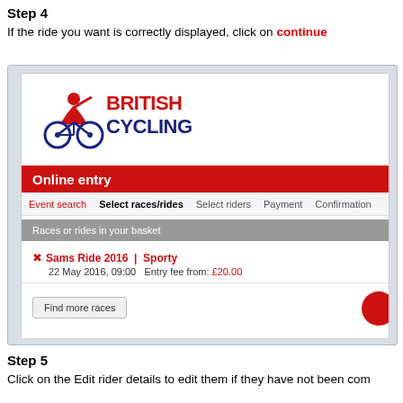Step 4
If the ride you want is correctly displayed, click on continue
[Figure (screenshot): Screenshot of British Cycling online entry system showing 'Sams Ride 2016 | Sporty' in the basket with entry fee from £20.00, navigation showing Event search, Select races/rides, Select riders, Payment, Confirmation steps, and a 'Find more races' button]
Step 5
Click on the Edit rider details to edit them if they have not been com